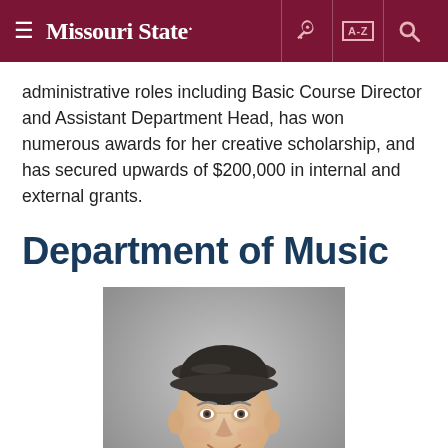Missouri State
administrative roles including Basic Course Director and Assistant Department Head, has won numerous awards for her creative scholarship, and has secured upwards of $200,000 in internal and external grants.
Department of Music
[Figure (photo): Headshot of a smiling older man wearing a dark flat cap, a dark red turtleneck, and a light grey blazer, photographed against a grey background.]